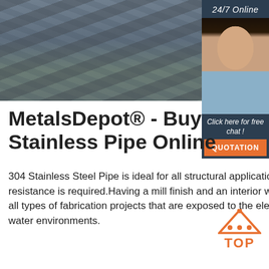[Figure (photo): Stainless steel pipes/rods stacked in rows, metallic grey color, industrial setting]
[Figure (photo): 24/7 Online customer service representative - woman with headset smiling, with 'Click here for free chat!' text and orange QUOTATION button]
MetalsDepot® - Buy Stainless Pipe Online
304 Stainless Steel Pipe is ideal for all structural applications where greater strength and corrosion resistance is required.Having a mill finish and an interior welded seam, Stainless Pipe is widely used for all types of fabrication projects that are exposed to the elements - chemical, acidic, fresh water, and salt water environments.
[Figure (logo): Orange TOP badge with triangle dots and TOP text]